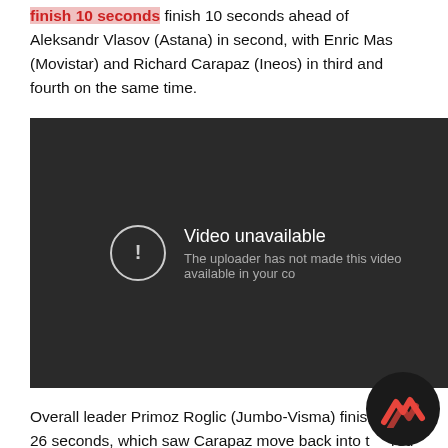finish 10 seconds ahead of Aleksandr Vlasov (Astana) in second, with Enric Mas (Movistar) and Richard Carapaz (Ineos) in third and fourth on the same time.
[Figure (screenshot): YouTube video player showing 'Video unavailable - The uploader has not made this video available in your co...' message on a dark background.]
Overall leader Primoz Roglic (Jumbo-Visma) finished at 26 seconds, which saw Carapaz move back into the red leader's jersey ahead of the second rest day. The